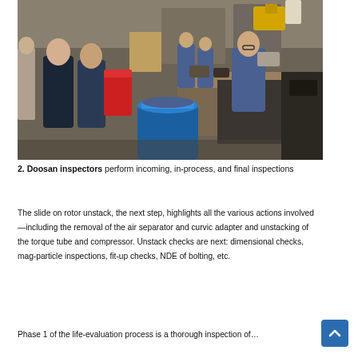[Figure (photo): Workers in a manufacturing or inspection facility; several people in blue uniforms at workbenches; a large blue trash can visible in the foreground; industrial equipment and shelving in the background.]
2. Doosan inspectors perform incoming, in-process, and final inspections
The slide on rotor unstack, the next step, highlights all the various actions involved—including the removal of the air separator and curvic adapter and unstacking of the torque tube and compressor. Unstack checks are next: dimensional checks, mag-particle inspections, fit-up checks, NDE of bolting, etc.
Phase 1 of the life-evaluation process is a thorough inspection of…